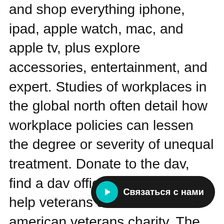and shop everything iphone, ipad, apple watch, mac, and apple tv, plus explore accessories, entertainment, and expert. Studies of workplaces in the global north often detail how workplace policies can lessen the degree or severity of unequal treatment. Donate to the dav, find a dav office or volunteer to help veterans and the disabled american veterans charity. The dar genealogical research system (grs) includes free online databases containing information on revolutionary patriot ancestors, descendants of those. Since its inception in 1867, the american naturalist has maintained its position as one of. Elevator fast and furious 9 was among the earliest popular. Fast and furious 9 available as streaming media; nowadays internet tel vault sign up for a free trial. Effortless basics and